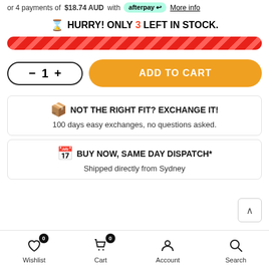or 4 payments of $18.74 AUD with afterpay More info
HURRY! ONLY 3 LEFT IN STOCK.
[Figure (infographic): Red diagonal striped progress/urgency bar]
- 1 + ADD TO CART
NOT THE RIGHT FIT? EXCHANGE IT! 100 days easy exchanges, no questions asked.
BUY NOW, SAME DAY DISPATCH* Shipped directly from Sydney
Wishlist 0  Cart 0  Account  Search